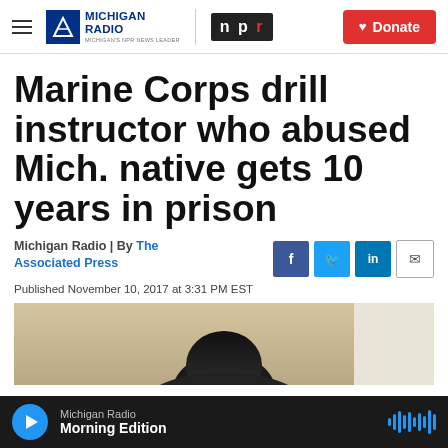Michigan Radio | NPR | Donate
Marine Corps drill instructor who abused Mich. native gets 10 years in prison
Michigan Radio | By The Associated Press
Published November 10, 2017 at 3:31 PM EST
[Figure (photo): Photo of a person seen from behind, dark hair, seated in a room with light-colored walls]
Michigan Radio Morning Edition (audio player)